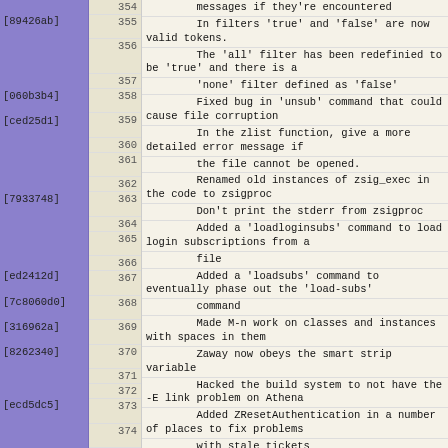| hash | line | message |
| --- | --- | --- |
|  | 354 | messages if they're encountered |
| [89426ab] | 355 | In filters 'true' and 'false' are now valid tokens. |
|  | 356 | The 'all' filter has been redefinied to be 'true' and there is a |
|  | 357 | 'none' filter defined as 'false' |
| [060b3b4] | 358 | Fixed bug in 'unsub' command that could cause file corruption |
| [ced25d1] | 359 | In the zlist function, give a more detailed error message if |
|  | 360 | the file cannot be opened. |
|  | 361 | Renamed old instances of zsig_exec in the code to zsigproc |
|  | 362 | Don't print the stderr from zsigproc |
| [7933748] | 363 | Added a 'loadloginsubs' command to load login subscriptions from a |
|  | 364 | file |
|  | 365 | Added a 'loadsubs' command to eventually phase out the 'load-subs' |
|  | 366 | command |
| [ed2412d] | 367 | Made M-n work on classes and instances with spaces in them |
| [7c8060d0] | 368 | Zaway now obeys the smart strip variable |
| [316962a] | 369 | Hacked the build system to not have the -E link problem on Athena |
| [8262340] | 370 | Added ZResetAuthentication in a number of places to fix problems |
|  | 371 | with stale tickets |
|  | 372 | Added some hooks for malloc debugging |
| [ecd5dc5] | 373 | M-p is bound to 'view personal' by default |
|  | 374 | loadsubs and loadloginsubs only print messages if in interactive |